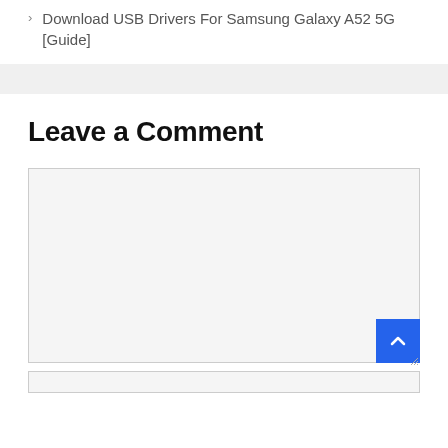> Download USB Drivers For Samsung Galaxy A52 5G [Guide]
Leave a Comment
[Figure (screenshot): A comment text area form field (empty textarea with light gray background and border), with a blue scroll-to-top button in the bottom-right corner showing a white upward chevron, and a resize handle at the bottom-right of the textarea.]
[Figure (screenshot): A text input field (empty, light gray background with border) for entering commenter information.]